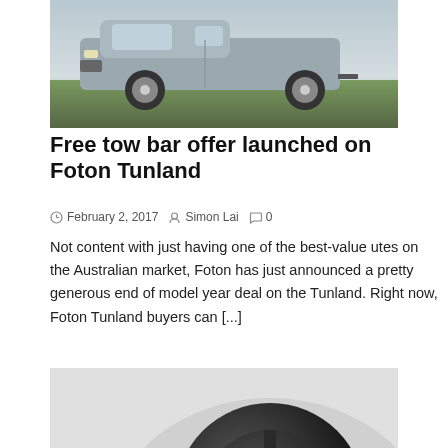[Figure (photo): Photo of a Foton Tunland ute parked on grass, silver/grey vehicle with alloy wheels]
Free tow bar offer launched on Foton Tunland
February 2, 2017   Simon Lai   0
Not content with just having one of the best-value utes on the Australian market, Foton has just announced a pretty generous end of model year deal on the Tunland. Right now, Foton Tunland buyers can [...]
[Figure (photo): Close-up photo of a Hankook tyre on an Audi vehicle with dark alloy wheel and red brake caliper]